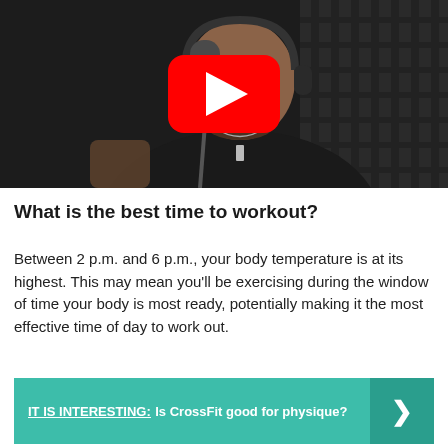[Figure (screenshot): YouTube video thumbnail showing a man wearing headphones speaking into a podcast microphone in a dark studio setting, with a YouTube play button overlay in the center]
What is the best time to workout?
Between 2 p.m. and 6 p.m., your body temperature is at its highest. This may mean you'll be exercising during the window of time your body is most ready, potentially making it the most effective time of day to work out.
IT IS INTERESTING:  Is CrossFit good for physique?